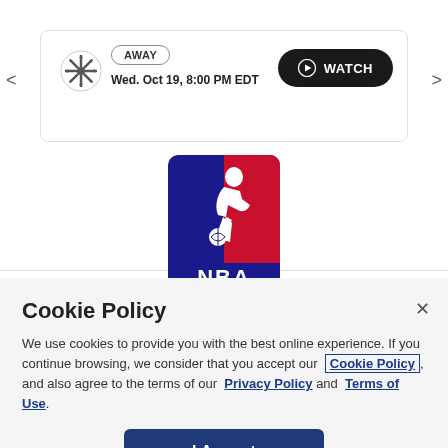[Figure (screenshot): San Antonio Spurs game card showing AWAY badge, date Wed. Oct 19, 8:00 PM EDT, and WATCH button]
[Figure (logo): NBA official logo — silhouette basketball player in blue, red and white with NBA text]
Cookie Policy
We use cookies to provide you with the best online experience. If you continue browsing, we consider that you accept our Cookie Policy, and also agree to the terms of our Privacy Policy and Terms of Use.
I Accept